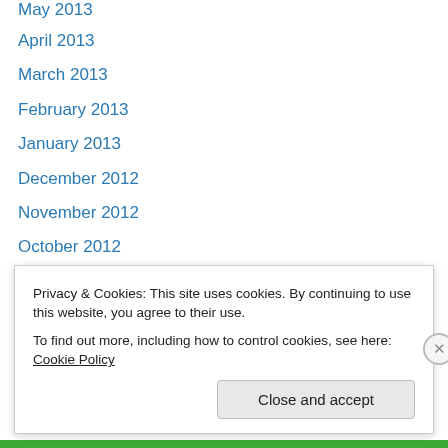May 2013
April 2013
March 2013
February 2013
January 2013
December 2012
November 2012
October 2012
September 2012
August 2012
July 2012
June 2012
May 2012
April 2012
Privacy & Cookies: This site uses cookies. By continuing to use this website, you agree to their use. To find out more, including how to control cookies, see here: Cookie Policy